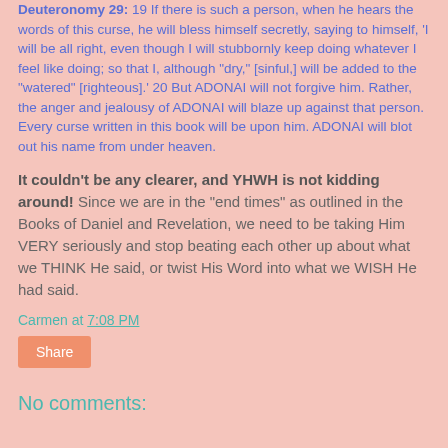Deuteronomy 29:19 If there is such a person, when he hears the words of this curse, he will bless himself secretly, saying to himself, ‘I will be all right, even though I will stubbornly keep doing whatever I feel like doing; so that I, although “dry,” [sinful,] will be added to the “watered” [righteous].’ 20 But ADONAI will not forgive him. Rather, the anger and jealousy of ADONAI will blaze up against that person. Every curse written in this book will be upon him. ADONAI will blot out his name from under heaven.
It couldn’t be any clearer, and YHWH is not kidding around! Since we are in the “end times” as outlined in the Books of Daniel and Revelation, we need to be taking Him VERY seriously and stop beating each other up about what we THINK He said, or twist His Word into what we WISH He had said.
Carmen at 7:08 PM
Share
No comments: